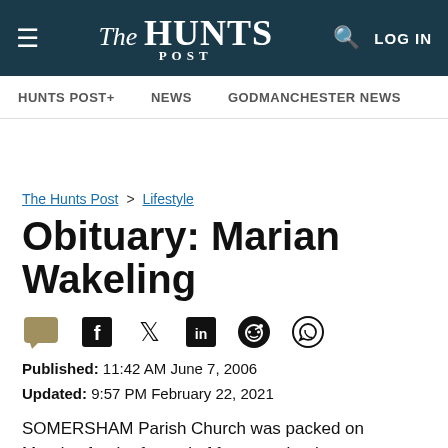The Hunts POST
HUNTS POST+   NEWS   GODMANCHESTER NEWS
The Hunts Post > Lifestyle
Obituary: Marian Wakeling
Published: 11:42 AM June 7, 2006
Updated: 9:57 PM February 22, 2021
SOMERSHAM Parish Church was packed on Monday for the funeral of former school secretary Marian Hope